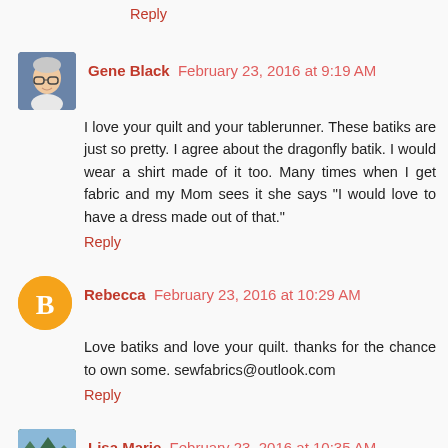Reply
Gene Black  February 23, 2016 at 9:19 AM
I love your quilt and your tablerunner. These batiks are just so pretty. I agree about the dragonfly batik. I would wear a shirt made of it too. Many times when I get fabric and my Mom sees it she says "I would love to have a dress made out of that."
Reply
Rebecca  February 23, 2016 at 10:29 AM
Love batiks and love your quilt. thanks for the chance to own some. sewfabrics@outlook.com
Reply
Lisa Marie  February 23, 2016 at 10:35 AM
Wow, your quilt is gorgeous!